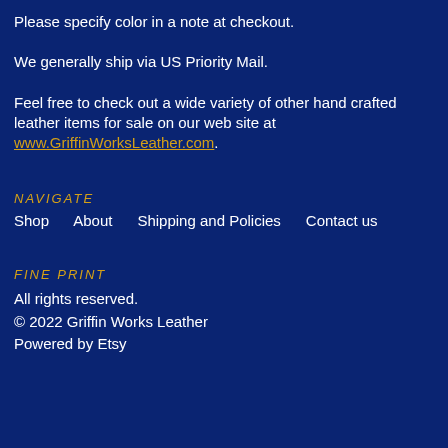Please specify color in a note at checkout.
We generally ship via US Priority Mail.
Feel free to check out a wide variety of other hand crafted leather items for sale on our web site at www.GriffinWorksLeather.com.
NAVIGATE
Shop    About    Shipping and Policies    Contact us
FINE PRINT
All rights reserved.
© 2022 Griffin Works Leather
Powered by Etsy